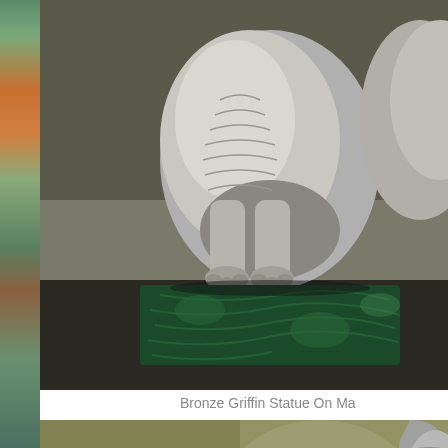[Figure (photo): Close-up photograph of a bronze griffin statue seated on a dark green marble base. The griffin's metallic silver-bronze body is visible from the torso down, showing detailed fur/feather texture. The dark green speckled marble base is prominent in the lower portion.]
Bronze Griffin Statue On Ma
[Figure (photo): Close-up photograph of a bronze griffin statue showing detailed wing spread. The metallic silver-grey wing is prominently displayed with detailed feather texturing. The background is an olive/yellow-green muted tone.]